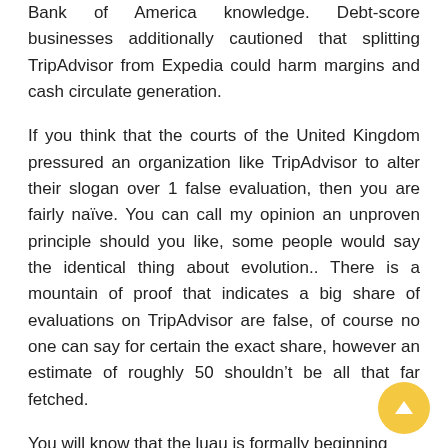Bank of America knowledge. Debt-score businesses additionally cautioned that splitting TripAdvisor from Expedia could harm margins and cash circulate generation.
If you think that the courts of the United Kingdom pressured an organization like TripAdvisor to alter their slogan over 1 false evaluation, then you are fairly naïve. You can call my opinion an unproven principle should you like, some people would say the identical thing about evolution.. There is a mountain of proof that indicates a big share of evaluations on TripAdvisor are false, of course no one can say for certain the exact share, however an estimate of roughly 50 shouldn't be all that far fetched.
You will know that the luau is formally beginning